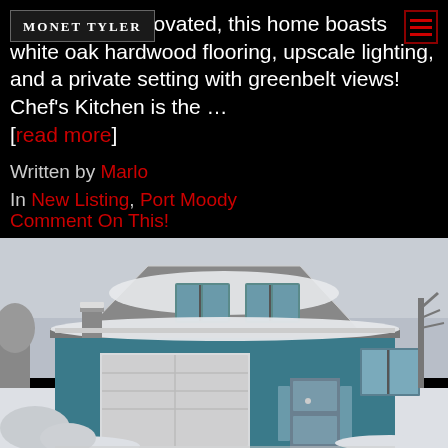MONET TYLER
Almost fully renovated, this home boasts white oak hardwood flooring, upscale lighting, and a private setting with greenbelt views! Chef's Kitchen is the … [read more]
Written by Marlo
In New Listing, Port Moody
Comment On This!
[Figure (photo): Exterior photo of a two-story blue house with white trim covered in snow, with a garage, front door, and bare winter trees in background under overcast sky.]